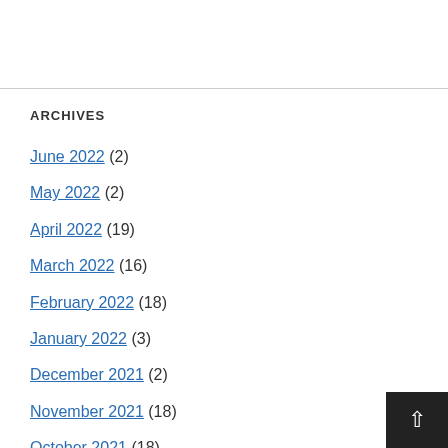ARCHIVES
June 2022 (2)
May 2022 (2)
April 2022 (19)
March 2022 (16)
February 2022 (18)
January 2022 (3)
December 2021 (2)
November 2021 (18)
October 2021 (18)
September 2021 (12)